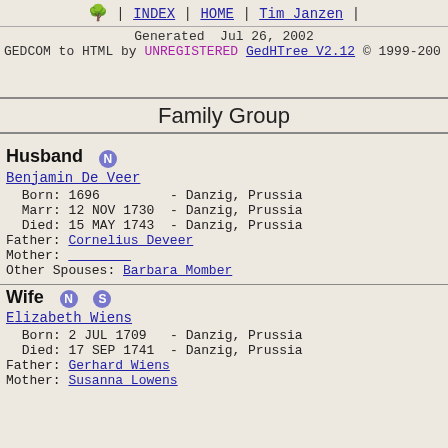🌳 | INDEX | HOME | Tim Janzen |
Generated  Jul 26, 2002
GEDCOM to HTML by UNREGISTERED GedHTree V2.12 © 1999-200
Family Group
Husband  N
Benjamin De Veer
Born: 1696         - Danzig, Prussia
Marr: 12 NOV 1730  - Danzig, Prussia
Died: 15 MAY 1743  - Danzig, Prussia
Father: Cornelius Deveer
Mother: ________
Other Spouses: Barbara Momber
Wife  N  S
Elizabeth Wiens
Born: 2 JUL 1709   - Danzig, Prussia
Died: 17 SEP 1741  - Danzig, Prussia
Father: Gerhard Wiens
Mother: Susanna Lowens